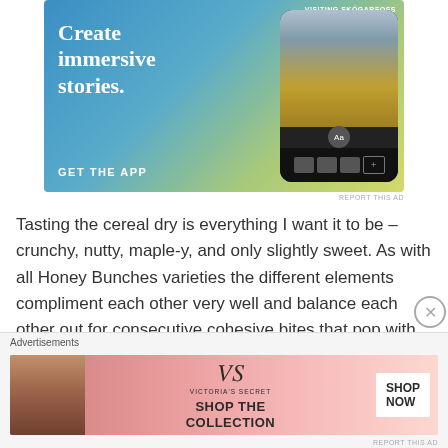[Figure (screenshot): Advertisement banner: 'Create immersive stories. GET THE APP' with a blue-to-yellow gradient background and a phone displaying a waterfall photo.]
REPORT THIS AD
Tasting the cereal dry is everything I want it to be – crunchy, nutty, maple-y, and only slightly sweet. As with all Honey Bunches varieties the different elements compliment each other very well and balance each other out for consecutive cohesive bites that pop with the occasional big cluster. I'm not sure how they do it
Advertisements
[Figure (screenshot): Victoria's Secret advertisement: 'SHOP THE COLLECTION' with SHOP NOW button, pink gradient background with model.]
REPORT THIS AD